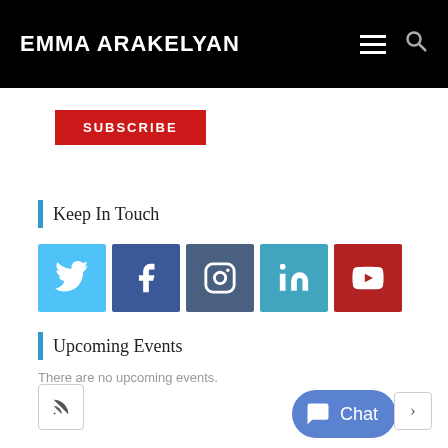EMMA ARAKELYAN
SUBSCRIBE
Keep In Touch
[Figure (other): Social media icon buttons: Twitter, Facebook, Instagram, LinkedIn, YouTube]
Upcoming Events
There are no upcoming events.